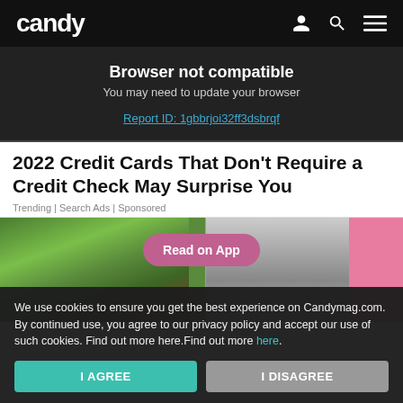candy
Browser not compatible
You may need to update your browser
Report ID: 1gbbrjoi32ff3dsbrqf
2022 Credit Cards That Don't Require a Credit Check May Surprise You
Trending | Search Ads | Sponsored
[Figure (screenshot): Article preview image showing a person under a tree on the left and a black-and-white photo on the right with a pink border, overlaid with a 'Read on App' button]
We use cookies to ensure you get the best experience on Candymag.com. By continued use, you agree to our privacy policy and accept our use of such cookies. Find out more here.Find out more here.